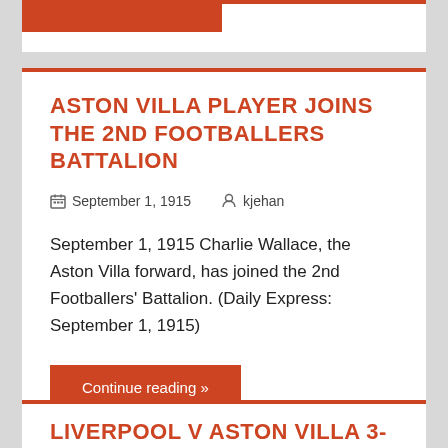[Figure (other): Partial top card with orange/red bar visible at top of page]
ASTON VILLA PLAYER JOINS THE 2ND FOOTBALLERS BATTALION
September 1, 1915   kjehan
September 1, 1915 Charlie Wallace, the Aston Villa forward, has joined the 2nd Footballers' Battalion. (Daily Express: September 1, 1915)
Continue reading »
LIVERPOOL V ASTON VILLA 3-6 (LEAGUE MATCH: NOVEMBER 28, 1914)